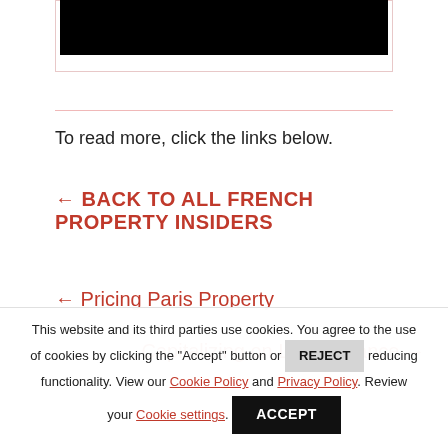[Figure (photo): Black image/video thumbnail at top]
To read more, click the links below.
← BACK TO ALL FRENCH PROPERTY INSIDERS
← Pricing Paris Property
Capitalizing on Life in France →
This website and its third parties use cookies. You agree to the use of cookies by clicking the "Accept" button or REJECT reducing functionality. View our Cookie Policy and Privacy Policy. Review your Cookie settings.